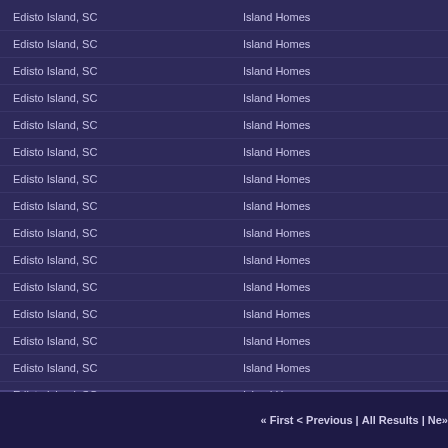Edisto Island, SC | Island Homes
Edisto Island, SC | Island Homes
Edisto Island, SC | Island Homes
Edisto Island, SC | Island Homes
Edisto Island, SC | Island Homes
Edisto Island, SC | Island Homes
Edisto Island, SC | Island Homes
Edisto Island, SC | Island Homes
Edisto Island, SC | Island Homes
Edisto Island, SC | Island Homes
Edisto Island, SC | Island Homes
Edisto Island, SC | Island Homes
Edisto Island, SC | Island Homes
Edisto Island, SC | Island Homes
Edisto Island, SC | Island Homes
Edisto Island, SC | Island Homes
Edisto Island, SC | Island Homes
« First < Previous | All Results | Ne»